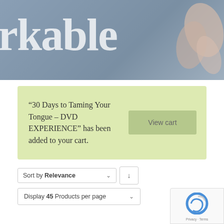[Figure (photo): Partial word 'rkable' in large bold serif text overlaid on a blurred bluish-grey background with a hand visible on the right side]
“30 Days to Taming Your Tongue – DVD EXPERIENCE” has been added to your cart.
View cart
Sort by Relevance
Display 45 Products per page